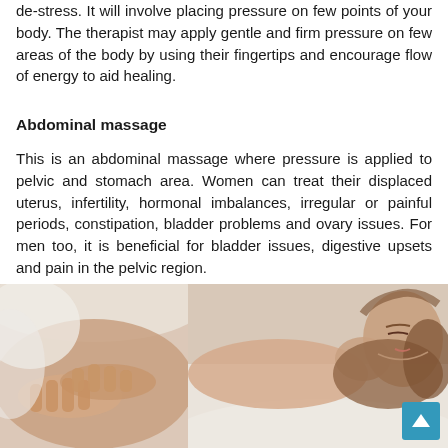de-stress. It will involve placing pressure on few points of your body. The therapist may apply gentle and firm pressure on few areas of the body by using their fingertips and encourage flow of energy to aid healing.
Abdominal massage
This is an abdominal massage where pressure is applied to pelvic and stomach area. Women can treat their displaced uterus, infertility, hormonal imbalances, irregular or painful periods, constipation, bladder problems and ovary issues. For men too, it is beneficial for bladder issues, digestive upsets and pain in the pelvic region.
[Figure (photo): Two-panel photograph: left panel shows a therapist's hands pressing on a patient's abdomen; right panel shows a woman lying down with eyes closed receiving a massage, draped in white cloth.]